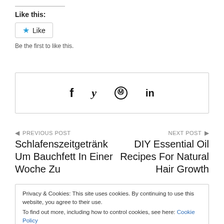Like this:
Be the first to like this.
[Figure (other): Social share bar with Facebook, Twitter, Pinterest, and LinkedIn icons inside a bordered box]
◀ PREVIOUS POST
Schlafenszeitgetränk Um Bauchfett In Einer Woche Zu
NEXT POST ▶
DIY Essential Oil Recipes For Natural Hair Growth
Privacy & Cookies: This site uses cookies. By continuing to use this website, you agree to their use.
To find out more, including how to control cookies, see here: Cookie Policy